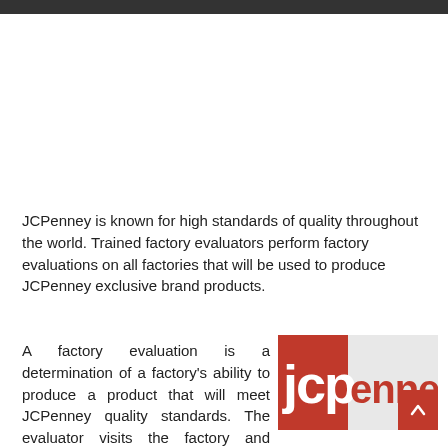JCPenney is known for high standards of quality throughout the world. Trained factory evaluators perform factory evaluations on all factories that will be used to produce JCPenney exclusive brand products.
A factory evaluation is a determination of a factory's ability to produce a product that will meet JCPenney quality standards. The evaluator visits the factory and follows
[Figure (logo): JCPenney logo — white lowercase 'jcp' text on red square background, followed by 'enney' in red text on light gray background]